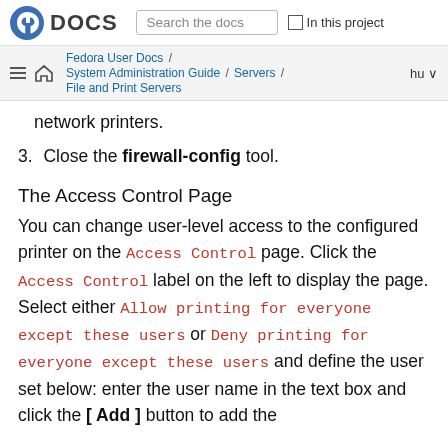Fedora DOCS | Search the docs | In this project
Fedora User Docs / System Administration Guide / Servers / File and Print Servers
network printers.
3. Close the firewall-config tool.
The Access Control Page
You can change user-level access to the configured printer on the Access Control page. Click the Access Control label on the left to display the page. Select either Allow printing for everyone except these users or Deny printing for everyone except these users and define the user set below: enter the user name in the text box and click the [ Add ] button to add the